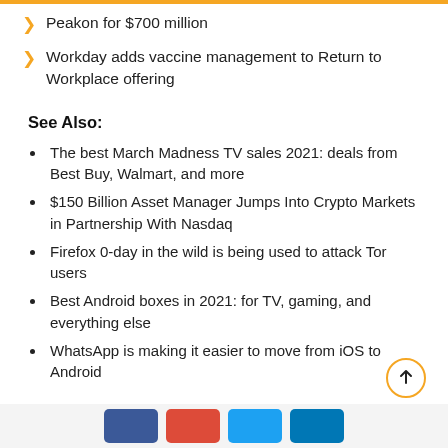Peakon for $700 million
Workday adds vaccine management to Return to Workplace offering
See Also:
The best March Madness TV sales 2021: deals from Best Buy, Walmart, and more
$150 Billion Asset Manager Jumps Into Crypto Markets in Partnership With Nasdaq
Firefox 0-day in the wild is being used to attack Tor users
Best Android boxes in 2021: for TV, gaming, and everything else
WhatsApp is making it easier to move from iOS to Android